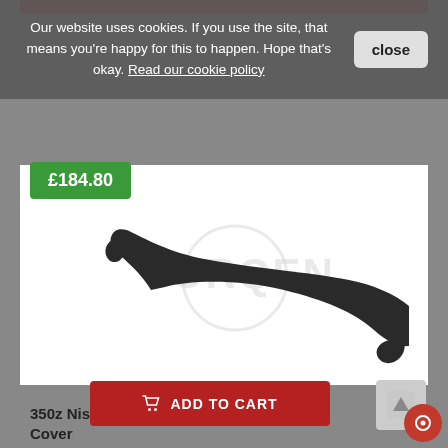Our website uses cookies. If you use the site, that means you're happy for this to happen. Hope that's okay. Read our cookie policy
close
£184.80
[Figure (photo): A black plastic rear strut bar rear cover for a Nissan 350z, curved elongated shape with TORQEN watermark logo overlaid]
93129-CD00D
350z Nissan OEM Rear Strut Bar, Rear Cover
ADD TO CART